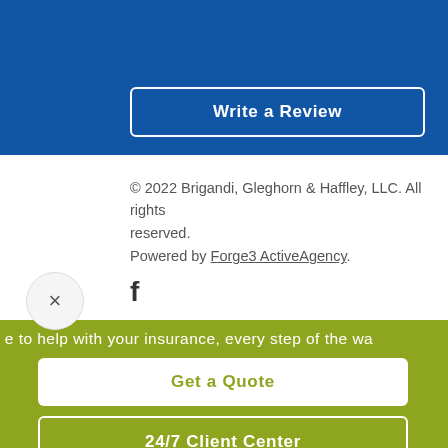Write a Review
© 2022 Brigandi, Gleghorn & Haffley, LLC. All rights reserved.
Powered by Forge3 ActiveAgency.
[Figure (logo): Facebook icon - stylized lowercase f in dark color]
e to help with your insurance, every step of the wa
Get a Quote
24/7 Client Center